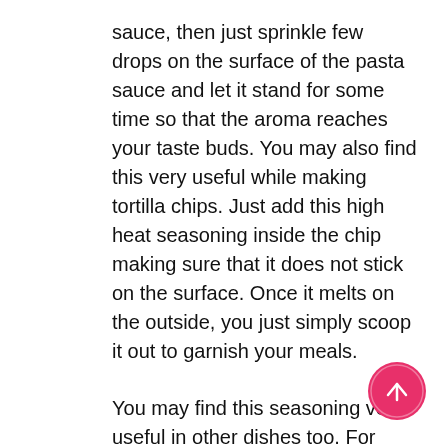sauce, then just sprinkle few drops on the surface of the pasta sauce and let it stand for some time so that the aroma reaches your taste buds. You may also find this very useful while making tortilla chips. Just add this high heat seasoning inside the chip making sure that it does not stick on the surface. Once it melts on the outside, you just simply scoop it out to garnish your meals.
You may find this seasoning very useful in other dishes too. For example, it can be added to meat and seafood dishes. This is also a great addition to soups, stews, rice, and other pasta where you usually sprinkle sea salt in order to have a richer taste.